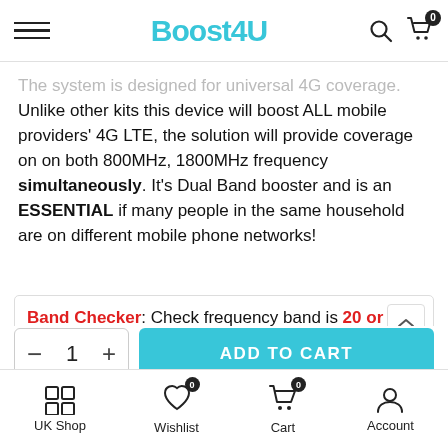Boost4U
The system is designed for universal 4G coverage. Unlike other kits this device will boost ALL mobile providers' 4G LTE, the solution will provide coverage on on both 800MHz, 1800MHz frequency simultaneously. It's Dual Band booster and is an ESSENTIAL if many people in the same household are on different mobile phone networks!
Band Checker: Check frequency band is 20 or 3 show on your iPhone:
No / No / No
ADD TO CART
UK Shop | Wishlist | Cart | Account